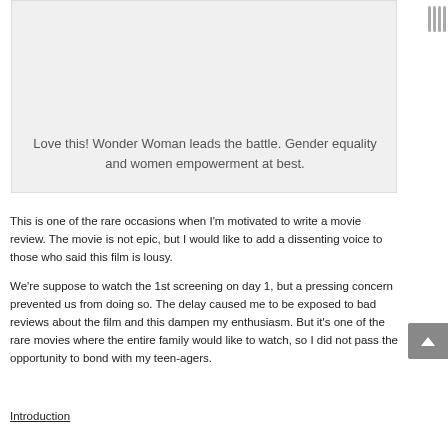[Figure (other): Gray image placeholder card with a centered caption text about Wonder Woman and gender equality]
Love this! Wonder Woman leads the battle. Gender equality and women empowerment at best.
This is one of the rare occasions when I'm motivated to write a movie review. The movie is not epic, but I would like to add a dissenting voice to those who said this film is lousy.
We're suppose to watch the 1st screening on day 1, but a pressing concern prevented us from doing so. The delay caused me to be exposed to bad reviews about the film and this dampen my enthusiasm. But it's one of the rare movies where the entire family would like to watch, so I did not pass the opportunity to bond with my teen-agers.
Introduction